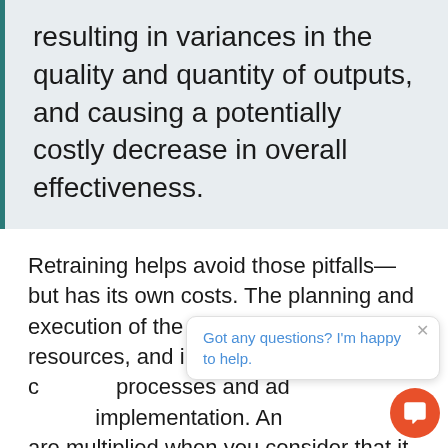resulting in variances in the quality and quantity of outputs, and causing a potentially costly decrease in overall effectiveness.
Retraining helps avoid those pitfalls—but has its own costs. The planning and execution of the training takes time and resources, and in some cases may disrupt processes and adoption during implementation. And these costs are multiplied when you consider that it tends to ripple outwards from system administrators to infrastructure specialists and all of the front-line workers who will use